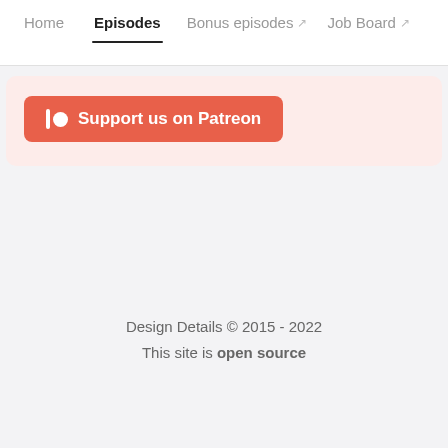Home | Episodes | Bonus episodes ↗ | Job Board ↗
[Figure (infographic): Patreon support button with bar and circle icon on pink/salmon background: 'Support us on Patreon']
Design Details © 2015 - 2022
This site is open source